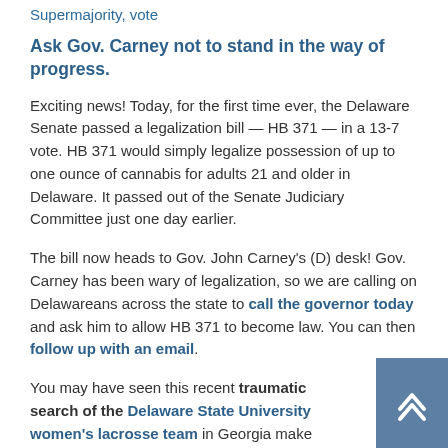Supermajority, vote
Ask Gov. Carney not to stand in the way of progress.
Exciting news! Today, for the first time ever, the Delaware Senate passed a legalization bill — HB 371 — in a 13-7 vote. HB 371 would simply legalize possession of up to one ounce of cannabis for adults 21 and older in Delaware. It passed out of the Senate Judiciary Committee just one day earlier.
The bill now heads to Gov. John Carney's (D) desk! Gov. Carney has been wary of legalization, so we are calling on Delawareans across the state to call the governor today and ask him to allow HB 371 to become law. You can then follow up with an email.
You may have seen this recent traumatic search of the Delaware State University women's lacrosse team in Georgia make national news. Officers told the HBCU's team...